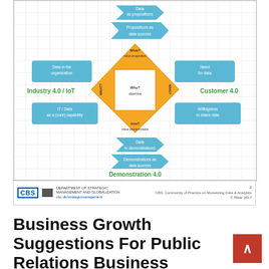[Figure (schematic): Business model diagram showing Industry 4.0/IoT and Customer 4.0 framework with data value proposition canvas. Central yellow diamond with Why/objective, What/value proposition, How/value demonstration. Surrounding blue labeled boxes: Data in the organization, IT/Data as a (core) capability, Need for data, Willingness to share data. Top arrows: Data as propositions, Propositions as data sources. Bottom arrows: Data in demonstrations, Demonstrations as data sources. Green labels: Industry 4.0 / IoT (left), Customer 4.0 (right), Demonstration 4.0 (bottom). Grid background. CBS footer with Community of Practice on Monetizing Data & Analytics, © Ritter 2017.]
Business Growth Suggestions For Public Relations Business
Incubators often make use of a selective screening course of assessing the feasibility and workability of the marketing strategy of incubatee prospects before letting hem join this system.